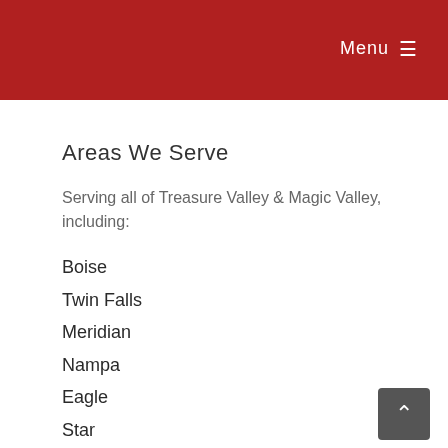Menu ≡
Areas We Serve
Serving all of Treasure Valley & Magic Valley, including:
Boise
Twin Falls
Meridian
Nampa
Eagle
Star